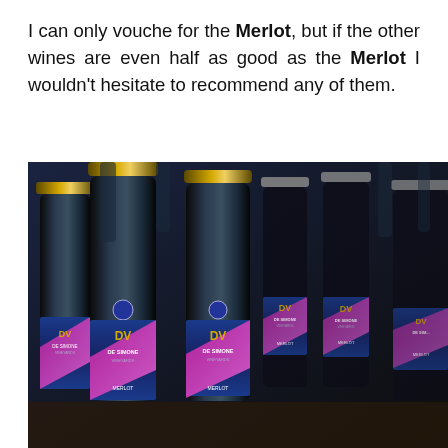I can only vouche for the Merlot, but if the other wines are even half as good as the Merlot I wouldn't hesitate to recommend any of them.
[Figure (photo): Multiple bottles of De Simone Vineyards Merlot wine arranged in rows, showing dark bottles with blue and pink/purple diamond-patterned labels featuring the DV logo and De Simone Vineyards text, shot in low-key lighting against a dark background.]